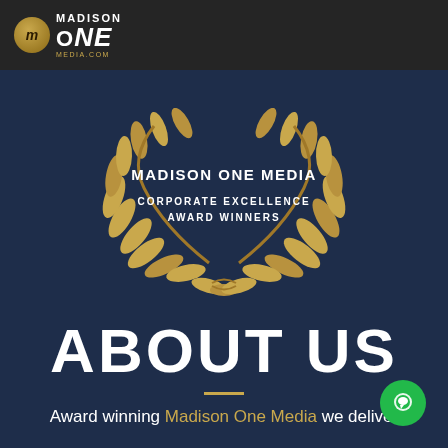MADISON ONE MEDIA MEDIA.COM logo header
[Figure (illustration): Gold laurel wreath award emblem with text 'MADISON ONE MEDIA - CORPORATE EXCELLENCE AWARD WINNERS' centered inside]
ABOUT US
Award winning Madison One Media we deliver